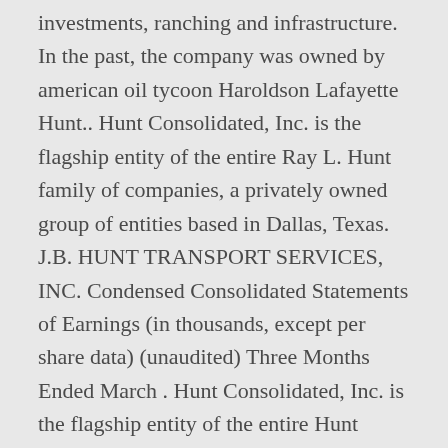investments, ranching and infrastructure. In the past, the company was owned by american oil tycoon Haroldson Lafayette Hunt.. Hunt Consolidated, Inc. is the flagship entity of the entire Ray L. Hunt family of companies, a privately owned group of entities based in Dallas, Texas. J.B. HUNT TRANSPORT SERVICES, INC. Condensed Consolidated Statements of Earnings (in thousands, except per share data) (unaudited) Three Months Ended March . Hunt Consolidated, Inc. is the flagship entity of the entire Hunt family of companies, a privately owned group of entities based in Dallas, Texas. Hunt Oil Company is a privately held exploration and production